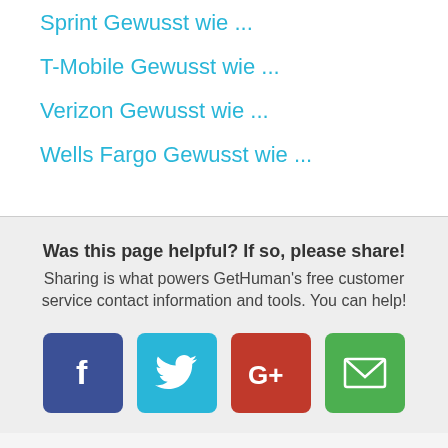Sprint Gewusst wie ...
T-Mobile Gewusst wie ...
Verizon Gewusst wie ...
Wells Fargo Gewusst wie ...
Was this page helpful? If so, please share! Sharing is what powers GetHuman's free customer service contact information and tools. You can help!
[Figure (infographic): Social sharing buttons: Facebook (blue), Twitter (light blue), Google+ (red), Email (green)]